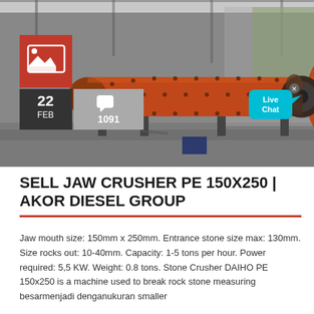[Figure (photo): Industrial ball mill/stone crusher machine (orange cylindrical drum) inside a metal-roofed warehouse/shed. A red square icon with a mountain/image symbol overlaid in the lower-left of the photo. Below the photo are a dark date box showing '22 FEB' and a grey comment-count box showing a speech-bubble icon and '1091'. A cyan 'Live Chat' speech-bubble overlay appears in the lower-right corner of the photo.]
SELL JAW CRUSHER PE 150X250 | AKOR DIESEL GROUP
Jaw mouth size: 150mm x 250mm. Entrance stone size max: 130mm. Size rocks out: 10-40mm. Capacity: 1-5 tons per hour. Power required: 5,5 KW. Weight: 0.8 tons. Stone Crusher DAIHO PE 150x250 is a machine used to break rock stone measuring besarmenjadi denganukuran smaller